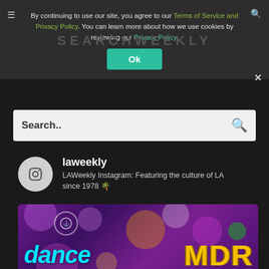By continuing to use our site, you agree to our Terms of Service and Privacy Policy. You can learn more about how we use cookies by reviewing our Privacy Policy.
Ok
Search..
laweekly
LAWeekly Instagram: Featuring the culture of LA since 1978 🌴
[Figure (photo): Dance MDR promotional image with colorful bokeh lights background, cyan script 'dance' text and yellow block letters 'MDR', La Marina logo circle in corner]